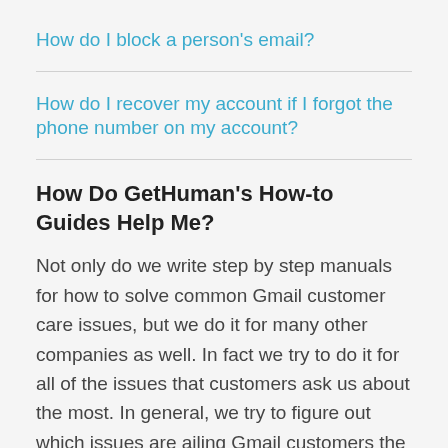How do I block a person's email?
How do I recover my account if I forgot the phone number on my account?
How Do GetHuman's How-to Guides Help Me?
Not only do we write step by step manuals for how to solve common Gmail customer care issues, but we do it for many other companies as well. In fact we try to do it for all of the issues that customers ask us about the most. In general, we try to figure out which issues are ailing Gmail customers the most and then our staff of expert writers takes takes our knowledge of major customer service problems and scribes them into an easy to follow series of steps for you. And of